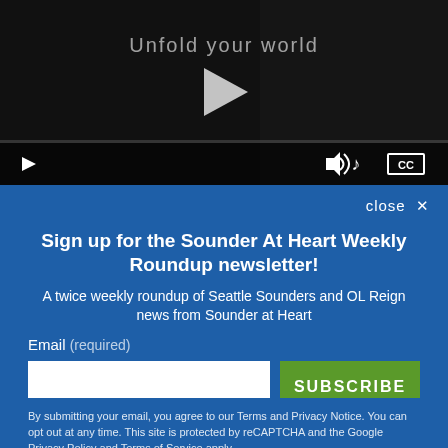[Figure (screenshot): Video player showing a dark scene with a woman and text 'Unfold your world' with a play button overlay and video controls (play, volume, CC) at the bottom]
Sign up for the Sounder At Heart Weekly Roundup newsletter!
A twice weekly roundup of Seattle Sounders and OL Reign news from Sounder at Heart
Email (required)
SUBSCRIBE
By submitting your email, you agree to our Terms and Privacy Notice. You can opt out at any time. This site is protected by reCAPTCHA and the Google Privacy Policy and Terms of Service apply.